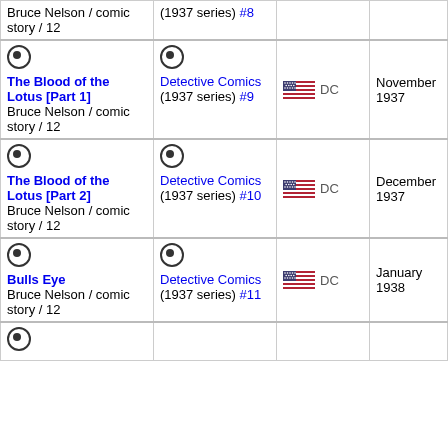| Story | Issue | Publisher | Date | ID |
| --- | --- | --- | --- | --- |
| Bruce Nelson / comic story / 12 | Detective Comics (1937 series) #8 | DC | (partial top) |  |
| The Blood of the Lotus [Part 1] Bruce Nelson / comic story / 12 | Detective Comics (1937 series) #9 | DC | November 1937 | 1937-10-10 |
| The Blood of the Lotus [Part 2] Bruce Nelson / comic story / 12 | Detective Comics (1937 series) #10 | DC | December 1937 | 1937-11-10 |
| Bulls Eye Bruce Nelson / comic story / 12 | Detective Comics (1937 series) #11 | DC | January 1938 | 1937-12-10 |